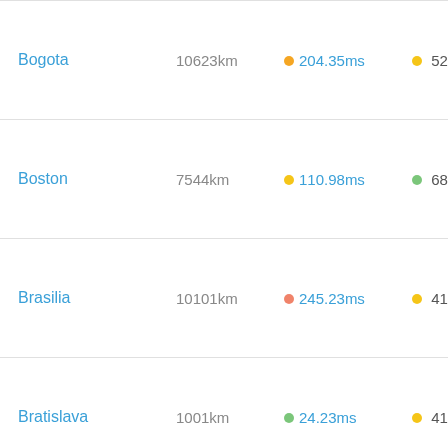| City | Distance | Ping | Percentage |  |
| --- | --- | --- | --- | --- |
| Bogota | 10623km | 204.35ms | 52.07% |  |
| Boston | 7544km | 110.98ms | 68.58% |  |
| Brasilia | 10101km | 245.23ms | 41.23% |  |
| Bratislava | 1001km | 24.23ms | 41.71% |  |
| Brisbane | 14843km | 290.50ms | 51.18% |  |
| Bristol | 2453km | 52.10ms | 47.17% |  |